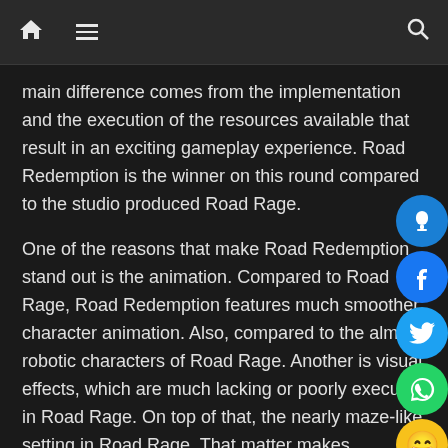Home | Menu | Search
main difference comes from the implementation and the execution of the resources available that result in an exciting gameplay experience. Road Redemption is the winner on this round compared to the studio produced Road Rage.
One of the reasons that make Road Redemption stand out is the animation. Compared to Road Rage, Road Redemption features much smoother character animation. Also, compared to the almost robotic characters of Road Rage. Another is visual effects, which are much lacking or poorly executed in Road Rage. On top of that, the nearly maze-like setting in Road Rage. That matter makes acceleration almost impossible (it's not like the game has one of the best controls out there).
That said, playing Road Rage, as the name suggests, often results in a real world rage. This thing is due to the various glitches, po...